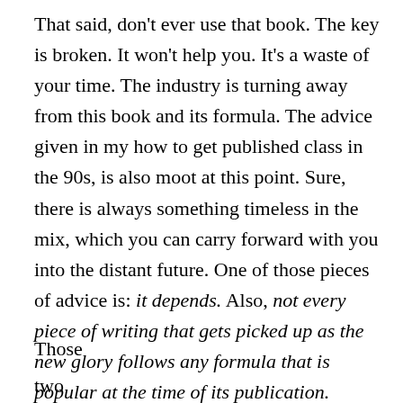That said, don't ever use that book. The key is broken. It won't help you. It's a waste of your time. The industry is turning away from this book and its formula. The advice given in my how to get published class in the 90s, is also moot at this point. Sure, there is always something timeless in the mix, which you can carry forward with you into the distant future. One of those pieces of advice is: it depends. Also, not every piece of writing that gets picked up as the new glory follows any formula that is popular at the time of its publication.
Those
two
pieces of